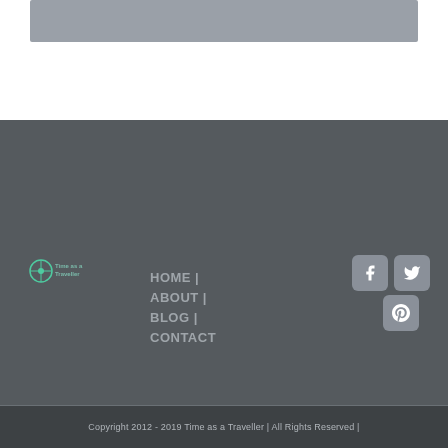[Figure (other): Gray banner image placeholder at top of page]
[Figure (logo): Time as a Traveller logo with compass icon]
HOME |
ABOUT |
BLOG |
CONTACT
[Figure (illustration): Facebook social icon button]
[Figure (illustration): Twitter social icon button]
[Figure (illustration): Pinterest social icon button]
[Figure (other): Search input field and search button]
Copyright 2012 - 2019 Time as a Traveller | All Rights Reserved |